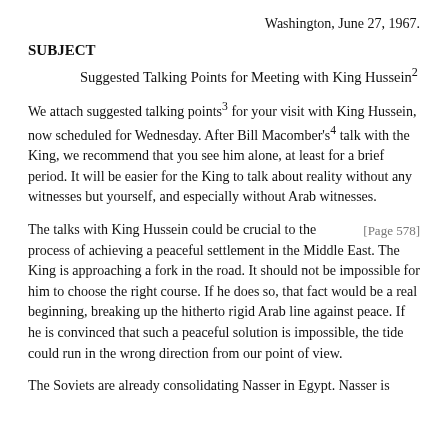Washington, June 27, 1967.
SUBJECT
Suggested Talking Points for Meeting with King Hussein²
We attach suggested talking points³ for your visit with King Hussein, now scheduled for Wednesday. After Bill Macomber's⁴ talk with the King, we recommend that you see him alone, at least for a brief period. It will be easier for the King to talk about reality without any witnesses but yourself, and especially without Arab witnesses.
The talks with King Hussein could be crucial to the process of achieving a peaceful settlement in the Middle East. The King is approaching a fork in the road. It should not be impossible for him to choose the right course. If he does so, that fact would be a real beginning, breaking up the hitherto rigid Arab line against peace. If he is convinced that such a peaceful solution is impossible, the tide could run in the wrong direction from our point of view.
The Soviets are already consolidating Nasser in Egypt. Nasser is